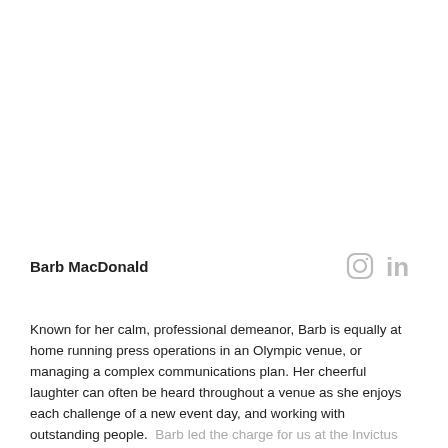Barb MacDonald
[Figure (infographic): Instagram and LinkedIn social media icons in light gray]
Known for her calm, professional demeanor, Barb is equally at home running press operations in an Olympic venue, or managing a complex communications plan. Her cheerful laughter can often be heard throughout a venue as she enjoys each challenge of a new event day, and working with outstanding people.  Barb led the charge for us at the Invictus Games Toronto 2017 and came over to us as Venue Media Manager for gymnastics at the European Championships Glasgow 2018. She